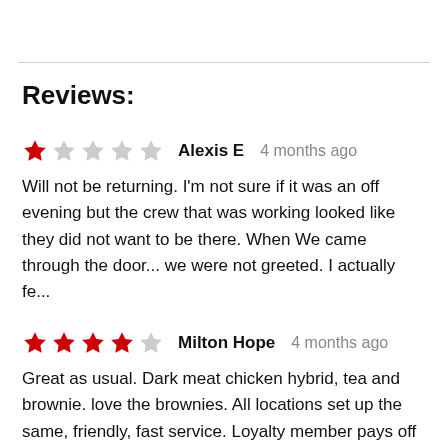Reviews:
★☆☆☆☆  Alexis E  4 months ago
Will not be returning. I'm not sure if it was an off evening but the crew that was working looked like they did not want to be there. When We came through the door... we were not greeted. I actually fe...
★★★★☆  Milton Hope  4 months ago
Great as usual. Dark meat chicken hybrid, tea and brownie. love the brownies. All locations set up the same, friendly, fast service. Loyalty member pays off and...